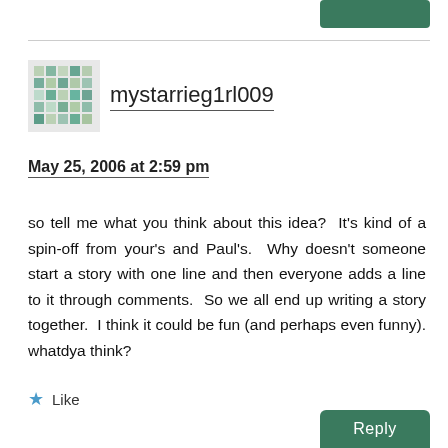mystarrieg1rl009
May 25, 2006 at 2:59 pm
so tell me what you think about this idea?  It's kind of a spin-off from your's and Paul's.  Why doesn't someone start a story with one line and then everyone adds a line to it through comments.  So we all end up writing a story together.  I think it could be fun (and perhaps even funny). whatdya think?
Like